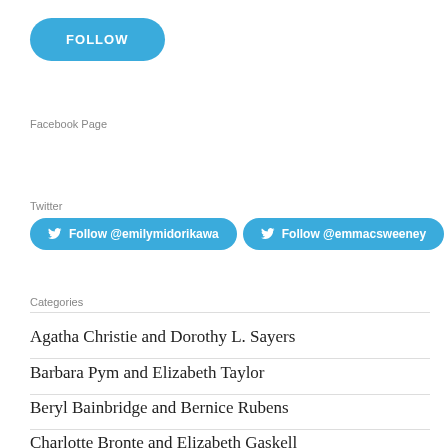[Figure (other): Blue rounded FOLLOW button]
Facebook Page
Twitter
[Figure (other): Two blue Twitter follow buttons: Follow @emilymidorikawa and Follow @emmacsweeney]
Categories
Agatha Christie and Dorothy L. Sayers
Barbara Pym and Elizabeth Taylor
Beryl Bainbridge and Bernice Rubens
Charlotte Bronte and Elizabeth Gaskell